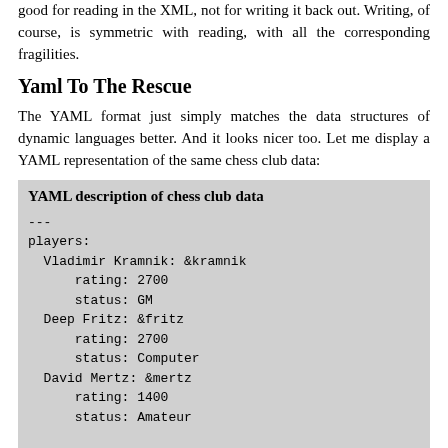good for reading in the XML, not for writing it back out. Writing, of course, is symmetric with reading, with all the corresponding fragilities.
Yaml To The Rescue
The YAML format just simply matches the data structures of dynamic languages better. And it looks nicer too. Let me display a YAML representation of the same chess club data:
YAML description of chess club data
---
players:
  Vladimir Kramnik: &kramnik
      rating: 2700
      status: GM
  Deep Fritz: &fritz
      rating: 2700
      status: Computer
  David Mertz: &mertz
      rating: 1400
      status: Amateur

matches:
  -
      Date: 2002-10-04